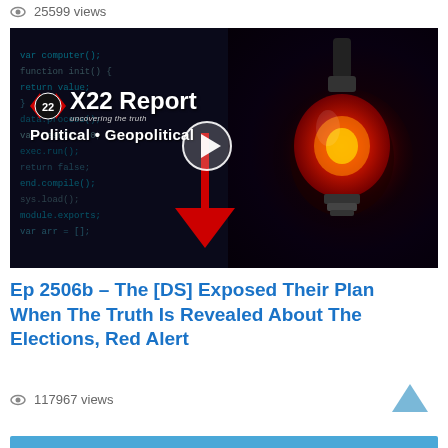25599 views
[Figure (screenshot): X22 Report video thumbnail showing dark background with code text, red downward arrow, red glowing lightbulb on right side, X22 Report logo with text 'Political • Geopolitical' and a play button overlay]
Ep 2506b – The [DS] Exposed Their Plan When The Truth Is Revealed About The Elections, Red Alert
117967 views